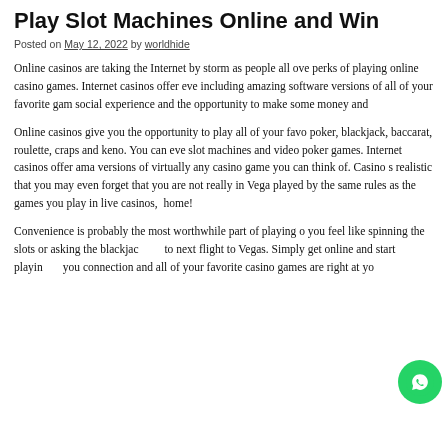Play Slot Machines Online and Win
Posted on May 12, 2022 by worldhide
Online casinos are taking the Internet by storm as people all over the perks of playing online casino games. Internet casinos offer eve including amazing software versions of all of your favorite gam social experience and the opportunity to make some money and
Online casinos give you the opportunity to play all of your favo poker, blackjack, baccarat, roulette, craps and keno. You can eve slot machines and video poker games. Internet casinos offer ama versions of virtually any casino game you can think of. Casino s realistic that you may even forget that you are not really in Vega played by the same rules as the games you play in live casinos, home!
Convenience is probably the most worthwhile part of playing o you feel like spinning the slots or asking the blackjac to next flight to Vegas. Simply get online and start playin you connection and all of your favorite casino games are right at yo